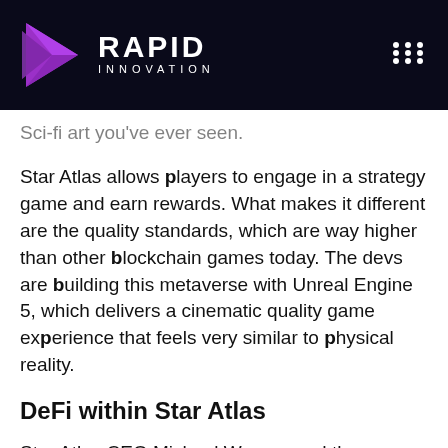RAPID INNOVATION
Sci-fi art you've ever seen.
Star Atlas allows players to engage in a strategy game and earn rewards. What makes it different are the quality standards, which are way higher than other blockchain games today. The devs are building this metaverse with Unreal Engine 5, which delivers a cinematic quality game experience that feels very similar to physical reality.
DeFi within Star Atlas
Star Atlas CEO Michael Wagner and the developer team are building an equivalent of